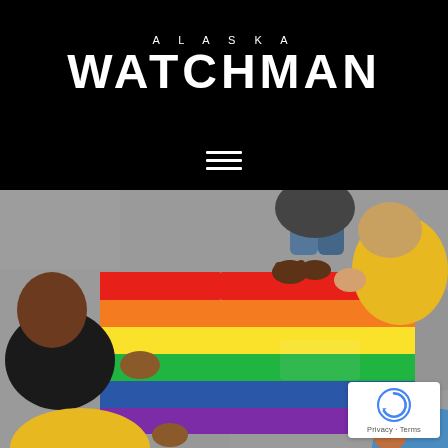ALASKA WATCHMAN
[Figure (photo): Overhead view of children holding a rainbow pride flag together on pavement, viewed from above. Four children visible at the edges of the flag.]
Privacy · Terms